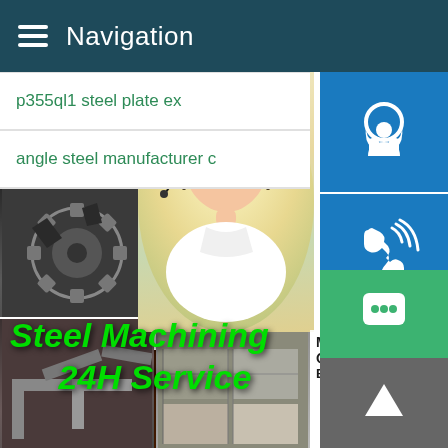Navigation
p355ql1 steel plate ex
angle steel manufacturer c
[Figure (screenshot): Steel machining image collage showing gear parts, metal rings, and steel plates with text overlay 'Steel Machining 24H Service']
[Figure (photo): Customer service representative - Asian woman with headset smiling]
MANUAL SE
QUOTING O
Email: bsteel1@163.com